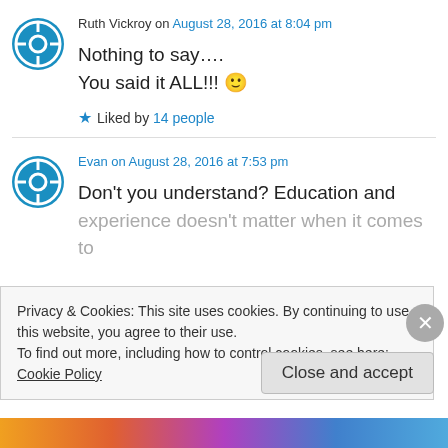Ruth Vickroy on August 28, 2016 at 8:04 pm
Nothing to say….
You said it ALL!!! 🙂
Liked by 14 people
Evan on August 28, 2016 at 7:53 pm
Don't you understand? Education and experience doesn't matter when it comes to
Privacy & Cookies: This site uses cookies. By continuing to use this website, you agree to their use.
To find out more, including how to control cookies, see here: Cookie Policy
Close and accept